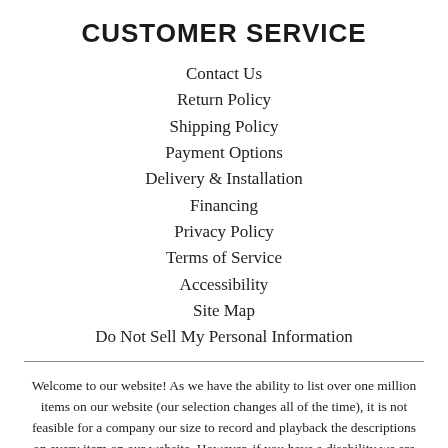CUSTOMER SERVICE
Contact Us
Return Policy
Shipping Policy
Payment Options
Delivery & Installation
Financing
Privacy Policy
Terms of Service
Accessibility
Site Map
Do Not Sell My Personal Information
Welcome to our website! As we have the ability to list over one million items on our website (our selection changes all of the time), it is not feasible for a company our size to record and playback the descriptions on every item on our website. However, if you have a disability we are here to help you. Please call our disability services phone line at 203-288-2943 during regular business hours and one of our kind and friendly personal shoppers will help you navigate through our website, help conduct advanced searches, help you